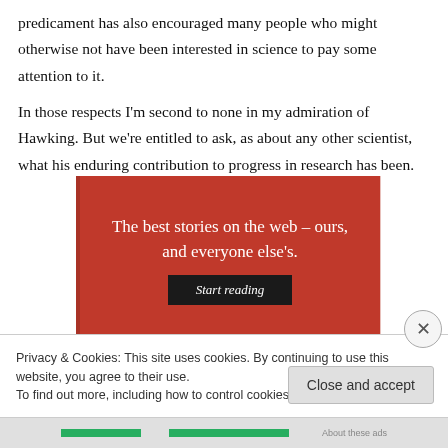predicament has also encouraged many people who might otherwise not have been interested in science to pay some attention to it.
In those respects I'm second to none in my admiration of Hawking. But we're entitled to ask, as about any other scientist, what his enduring contribution to progress in research has been.
[Figure (other): Red advertisement banner reading 'The best stories on the web – ours, and everyone else's.' with a black 'Start reading' button.]
Privacy & Cookies: This site uses cookies. By continuing to use this website, you agree to their use.
To find out more, including how to control cookies, see here: Cookie Policy